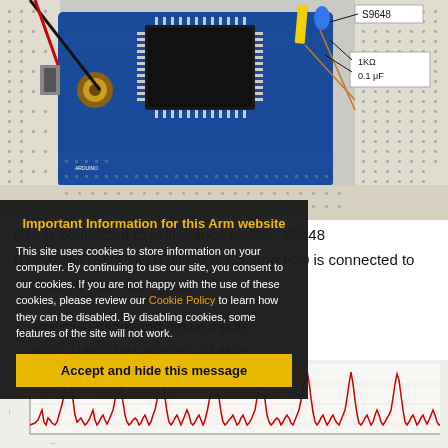[Figure (photo): Photo of an Arduino/STM32 microcontroller board mounted on a breadboard. Labels indicate S9648 sensor (top right), 1KΩ resistor and 0.1µF capacitor (right side). Wires and components visible.]
Important Information for this Arm website
This site uses cookies to store information on your computer. By continuing to use our site, you consent to our cookies. If you are not happy with the use of these cookies, please review our Cookie Policy to learn how they can be disabled. By disabling cookies, some features of the site will not work.
[Accept and hide this message button]
P19 is connected to illuminance sensor, S9648 (HAMAMATSU PHOTONICS K.K.). And P20 is connected to ... (National Semiconductor ...
... analog sensors and digital inputs, ... have 1MHz/1Hz instead of LM35.
[Figure (continuous-plot): A time-series waveform/signal chart at the bottom of the page, showing irregular red spikes and noise on a light background.]